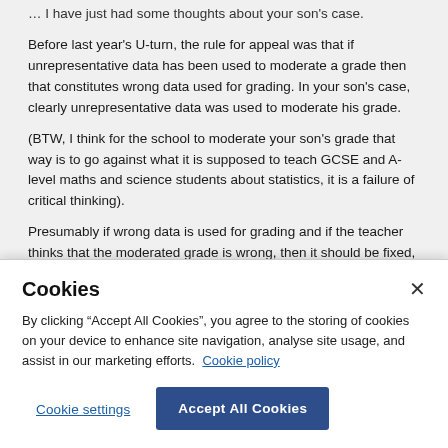… I have just had some thoughts about your son's case.
Before last year's U-turn, the rule for appeal was that if unrepresentative data has been used to moderate a grade then that constitutes wrong data used for grading. In your son's case, clearly unrepresentative data was used to moderate his grade.
(BTW, I think for the school to moderate your son's grade that way is to go against what it is supposed to teach GCSE and A-level maths and science students about statistics, it is a failure of critical thinking).
Presumably if wrong data is used for grading and if the teacher thinks that the moderated grade is wrong, then it should be fixed, especially
Cookies
By clicking “Accept All Cookies”, you agree to the storing of cookies on your device to enhance site navigation, analyse site usage, and assist in our marketing efforts. Cookie policy
Cookie settings
Accept All Cookies